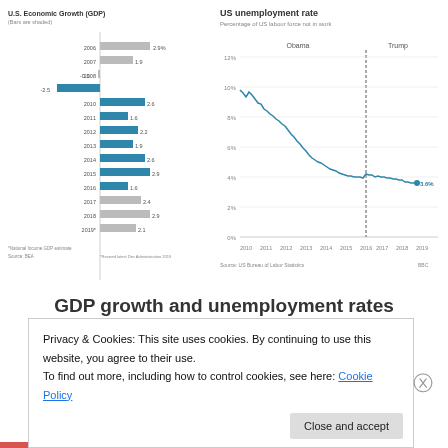[Figure (bar-chart): U.S. Economic Growth (GDP)]
[Figure (line-chart): US unemployment rate]
GDP growth and unemployment rates
Privacy & Cookies: This site uses cookies. By continuing to use this website, you agree to their use.
To find out more, including how to control cookies, see here: Cookie Policy